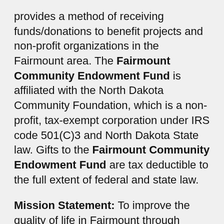provides a method of receiving funds/donations to benefit projects and non-profit organizations in the Fairmount area. The Fairmount Community Endowment Fund is affiliated with the North Dakota Community Foundation, which is a non-profit, tax-exempt corporation under IRS code 501(C)3 and North Dakota State law. Gifts to the Fairmount Community Endowment Fund are tax deductible to the full extent of federal and state law.
Mission Statement: To improve the quality of life in Fairmount through charitable giving and promoting philanthropy.
The Fairmount Community Endowment Fund is managed locally by a group of